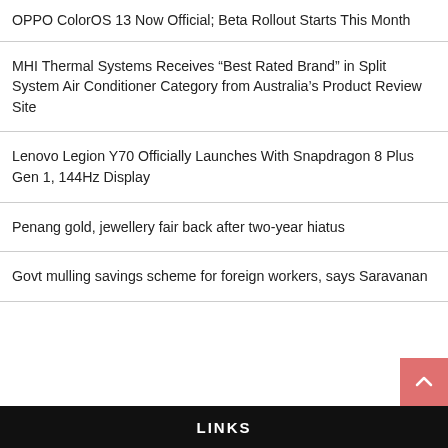OPPO ColorOS 13 Now Official; Beta Rollout Starts This Month
MHI Thermal Systems Receives “Best Rated Brand” in Split System Air Conditioner Category from Australia’s Product Review Site
Lenovo Legion Y70 Officially Launches With Snapdragon 8 Plus Gen 1, 144Hz Display
Penang gold, jewellery fair back after two-year hiatus
Govt mulling savings scheme for foreign workers, says Saravanan
LINKS